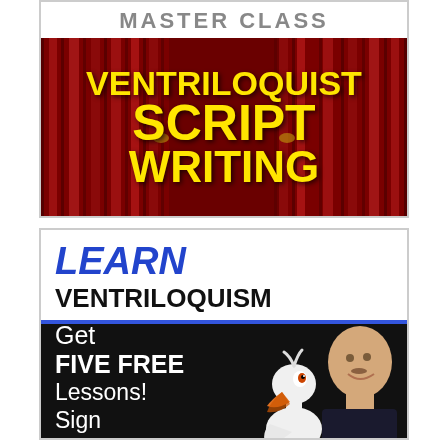[Figure (illustration): Master Class banner with yellow text 'VENTRILOQUIST SCRIPT WRITING' on a red curtain background]
[Figure (illustration): Learn Ventriloquism ad with blue 'LEARN' italic text, black 'VENTRILOQUISM' text, blue underline, dark section with white text 'Get FIVE FREE Lessons! Sign Up' and a photo of a man with a bird puppet]